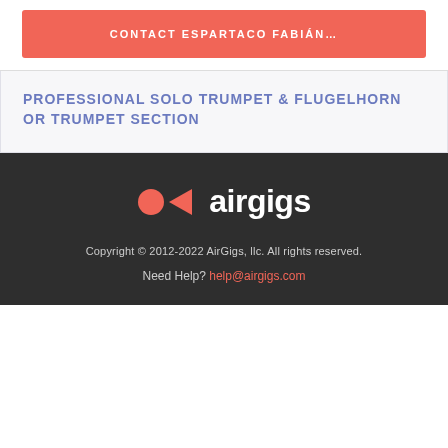CONTACT ESPARTACO FABIÁN…
PROFESSIONAL SOLO TRUMPET & FLUGELHORN OR TRUMPET SECTION
[Figure (logo): AirGigs logo with two coral/red icons (circle and play button triangle) followed by the text 'airgigs' in white on dark background]
Copyright © 2012-2022 AirGigs, llc. All rights reserved. Need Help? help@airgigs.com